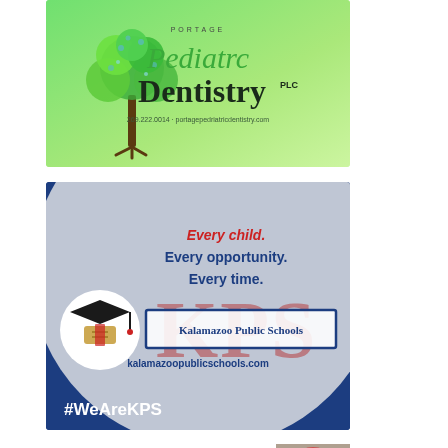[Figure (logo): Portage Pediatric Dentistry PLC advertisement with green gradient background, tree illustration, and dentistry text logo with phone and website]
[Figure (logo): Kalamazoo Public Schools advertisement with dark blue background, large KPS letters watermark, graduation cap icon, tagline 'Every child. Every opportunity. Every time.' and #WeAreKPS hashtag]
[Figure (logo): Jeannie Cleaning advertisement with teal script logo, photo of person, and tagline 'Let us make your home...']